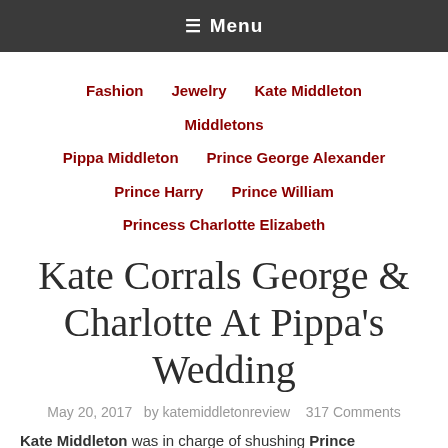≡ Menu
Fashion
Jewelry
Kate Middleton
Middletons
Pippa Middleton
Prince George Alexander
Prince Harry
Prince William
Princess Charlotte Elizabeth
Kate Corrals George & Charlotte At Pippa's Wedding
May 20, 2017  by katemiddletonreview  317 Comments
Kate Middleton was in charge of shushing Prince